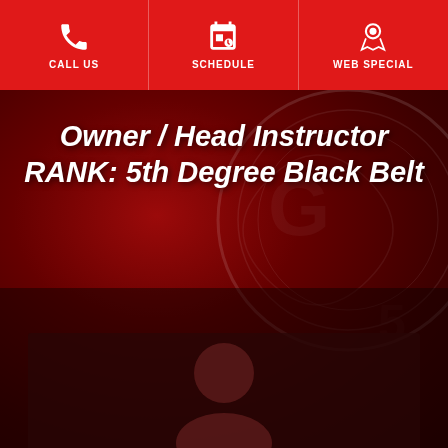CALL US | SCHEDULE | WEB SPECIAL
Owner / Head Instructor RANK: 5th Degree Black Belt
[Figure (photo): Partial photo of a person at the bottom of the page against a dark red background]